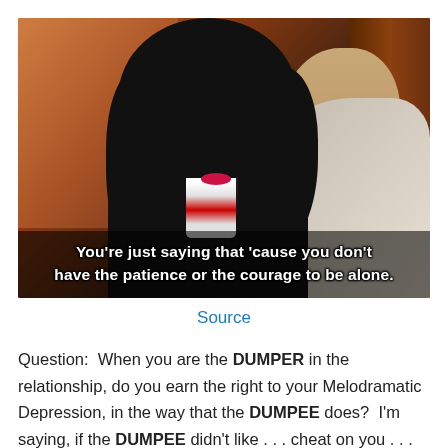[Figure (photo): TV show screenshot showing a woman with dark hair and bangs facing a man (seen from behind). Subtitle reads: You're just saying that 'cause you don't have the patience or the courage to be alone.]
Source
Question:  When you are the DUMPER in the relationship, do you earn the right to your Melodramatic Depression, in the way that the DUMPEE does?  I'm saying, if the DUMPEE didn't like . . . cheat on you . . . or